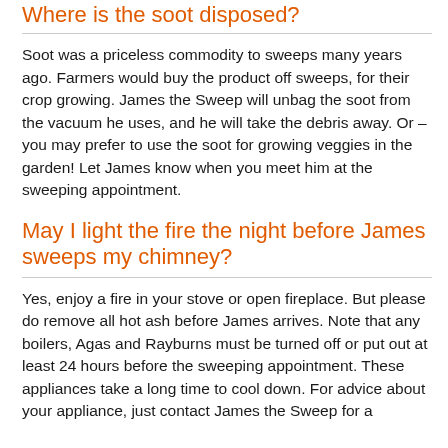Where is the soot disposed?
Soot was a priceless commodity to sweeps many years ago. Farmers would buy the product off sweeps, for their crop growing. James the Sweep will unbag the soot from the vacuum he uses, and he will take the debris away. Or – you may prefer to use the soot for growing veggies in the garden! Let James know when you meet him at the sweeping appointment.
May I light the fire the night before James sweeps my chimney?
Yes, enjoy a fire in your stove or open fireplace. But please do remove all hot ash before James arrives. Note that any boilers, Agas and Rayburns must be turned off or put out at least 24 hours before the sweeping appointment. These appliances take a long time to cool down. For advice about your appliance, just contact James the Sweep for a